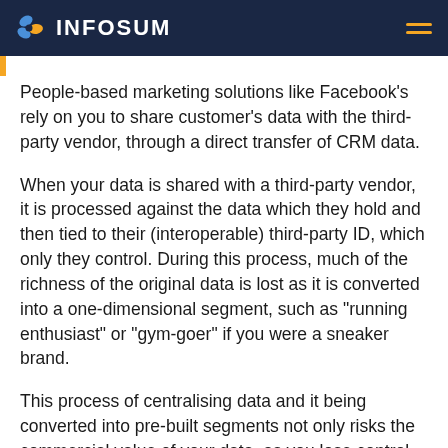INFOSUM
People-based marketing solutions like Facebook's rely on you to share customer's data with the third-party vendor, through a direct transfer of CRM data.
When your data is shared with a third-party vendor, it is processed against the data which they hold and then tied to their (interoperable) third-party ID, which only they control. During this process, much of the richness of the original data is lost as it is converted into a one-dimensional segment, such as "running enthusiast" or "gym-goer" if you were a sneaker brand.
This process of centralising data and it being converted into pre-built segments not only risks the commercial value of your data, as you lose control over how it is used after it is shared but also demotes people-based marketing to actually being regular old "segment-based marketing"